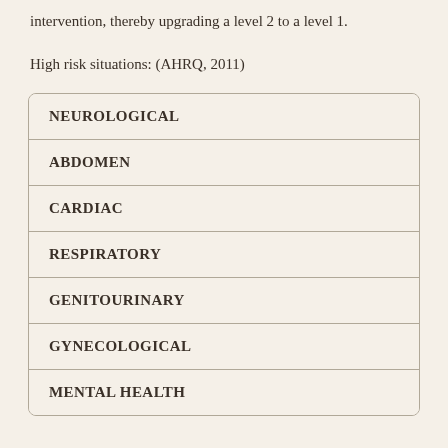intervention, thereby upgrading a level 2 to a level 1.
High risk situations: (AHRQ, 2011)
| NEUROLOGICAL |
| ABDOMEN |
| CARDIAC |
| RESPIRATORY |
| GENITOURINARY |
| GYNECOLOGICAL |
| MENTAL HEALTH |